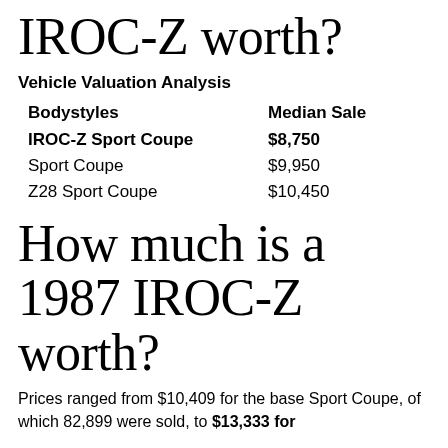IROC-Z worth?
Vehicle Valuation Analysis
| Bodystyles | Median Sale |
| --- | --- |
| IROC-Z Sport Coupe | $8,750 |
| Sport Coupe | $9,950 |
| Z28 Sport Coupe | $10,450 |
How much is a 1987 IROC-Z worth?
Prices ranged from $10,409 for the base Sport Coupe, of which 82,899 were sold, to $13,333 for